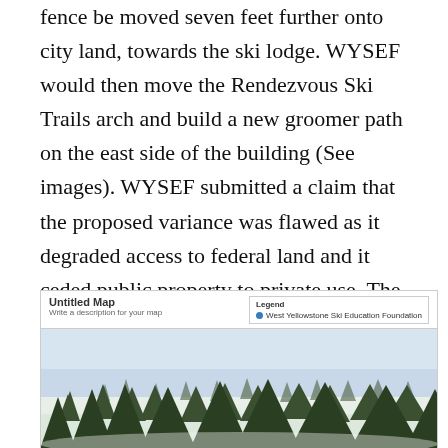fence be moved seven feet further onto city land, towards the ski lodge. WYSEF would then move the Rendezvous Ski Trails arch and build a new groomer path on the east side of the building (See images). WYSEF submitted a claim that the proposed variance was flawed as it degraded access to federal land and it ceded public property to private use. The city ultimately granted a variance with a 2.5-foot setback from the fence line.
[Figure (map): An untitled Google Maps-style map showing a forested area with pine trees under a light blue sky. A legend box in the top right reads 'Legend' with 'West Yellowstone Ski Education Foundation' as a marker entry.]